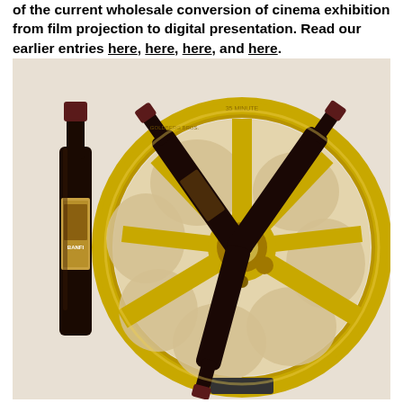of the current wholesale conversion of cinema exhibition from film projection to digital presentation. Read our earlier entries here, here, here, and here.
[Figure (photo): A gold-colored film reel used as a wine rack, holding four bottles of red wine, with a single wine bottle (Banfi label) standing upright to the left, on a light background.]